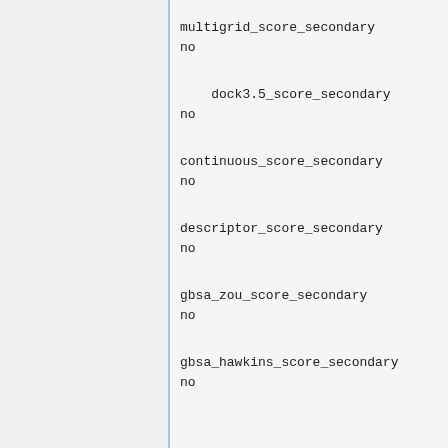multigrid_score_secondary
no
dock3.5_score_secondary
no
continuous_score_secondary
no
descriptor_score_secondary
no
gbsa_zou_score_secondary
no
gbsa_hawkins_score_secondary
no